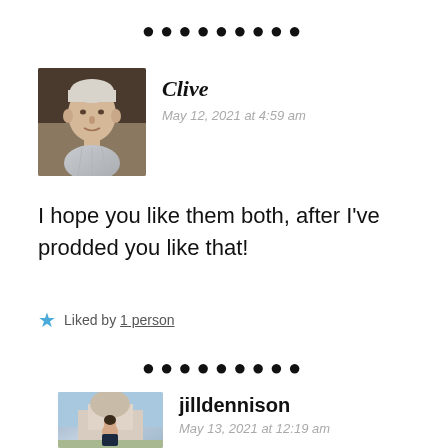[Figure (other): Row of 9 black dots as a decorative separator]
[Figure (photo): Avatar photo of Clive, an older man with white/grey hair]
Clive
May 12, 2021 at 4:59 am
I hope you like them both, after I've prodded you like that!
Liked by 1 person
[Figure (other): Row of 9 black dots as a decorative separator]
[Figure (photo): Avatar photo of jilldennison, a woman in front of an ornate building]
jilldennison
May 13, 2021 at 12:19 am